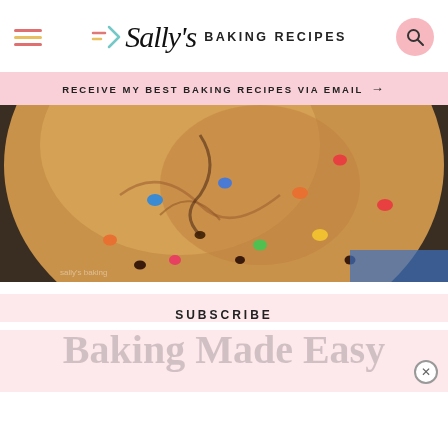Sally's Baking Recipes
RECEIVE MY BEST BAKING RECIPES VIA EMAIL →
[Figure (photo): Close-up photo of a large skillet cookie with M&M candies and chocolate chips baked into a golden-brown cookie in a cast iron skillet]
SUBSCRIBE
Baking Made Easy